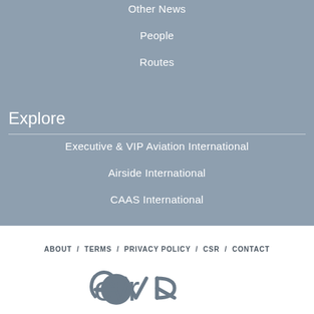Other News
People
Routes
Explore
Executive & VIP Aviation International
Airside International
CAAS International
ABOUT / TERMS / PRIVACY POLICY / CSR / CONTACT
[Figure (logo): EVR company logo in grey on white background]